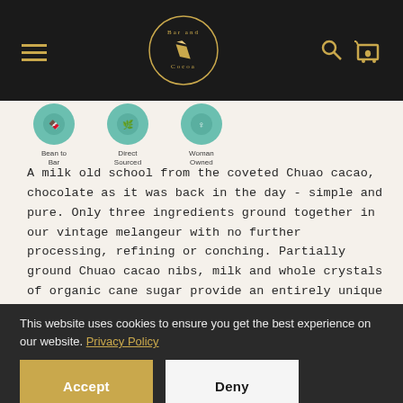Bar and Cocoa — navigation header with logo, hamburger menu, search and cart icons
[Figure (illustration): Three circular badge icons: Bean to Bar, Direct Sourced, Woman Owned, with teal/mint circular backgrounds]
A milk old school from the coveted Chuao cacao, chocolate as it was back in the day - simple and pure. Only three ingredients ground together in our vintage melangeur with no further processing, refining or conching. Partially ground Chuao cacao nibs, milk and whole crystals of organic cane sugar provide an entirely unique crumbly almost cookie-like texture.
This website uses cookies to ensure you get the best experience on our website. Privacy Policy
Accept
Deny